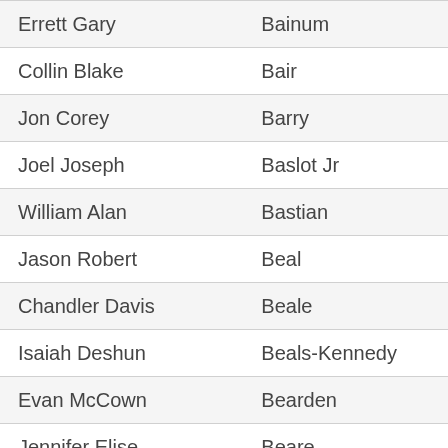| Errett Gary | Bainum |
| Collin Blake | Bair |
| Jon Corey | Barry |
| Joel Joseph | Baslot Jr |
| William Alan | Bastian |
| Jason Robert | Beal |
| Chandler Davis | Beale |
| Isaiah Deshun | Beals-Kennedy |
| Evan McCown | Bearden |
| Jennifer Elise | Beare |